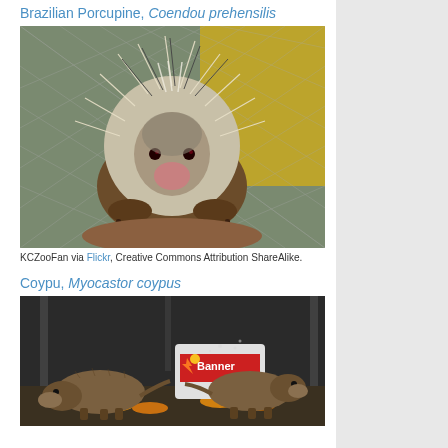Brazilian Porcupine, Coendou prehensilis
[Figure (photo): A Brazilian Porcupine (Coendou prehensilis) with white quills, sitting facing the camera inside a wire mesh enclosure with a yellow wall behind it.]
KCZooFan via Flickr, Creative Commons Attribution ShareAlike.
Coypu, Myocastor coypus
[Figure (photo): Two coypu (Myocastor coypus) eating food scraps on the ground near a Banner battery box, photographed at night.]